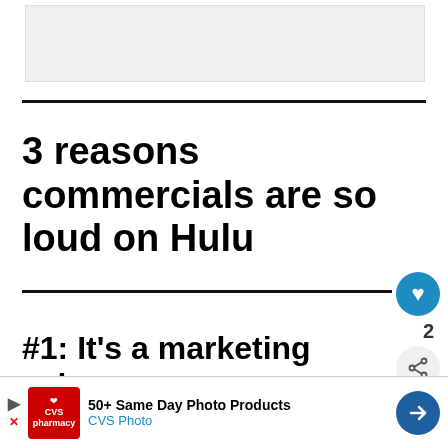[Figure (photo): Gray placeholder image at top of article]
3 reasons commercials are so loud on Hulu
#1: It's a marketing scheme
"It's all about the money, mone...
[Figure (screenshot): UI overlay with like button (heart icon, count 2), share button, What's Next panel showing 'How To Keep' thumbnail, and CVS Photo advertisement banner at bottom]